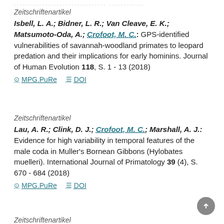Zeitschriftenartikel
Isbell, L. A.; Bidner, L. R.; Van Cleave, E. K.; Matsumoto-Oda, A.; Crofoot, M. C.: GPS-identified vulnerabilities of savannah-woodland primates to leopard predation and their implications for early hominins. Journal of Human Evolution 118, S. 1 - 13 (2018)
MPG.PuRe   DOI
Zeitschriftenartikel
Lau, A. R.; Clink, D. J.; Crofoot, M. C.; Marshall, A. J.: Evidence for high variability in temporal features of the male coda in Muller's Bornean Gibbons (Hylobates muelleri). International Journal of Primatology 39 (4), S. 670 - 684 (2018)
MPG.PuRe   DOI
Zeitschriftenartikel